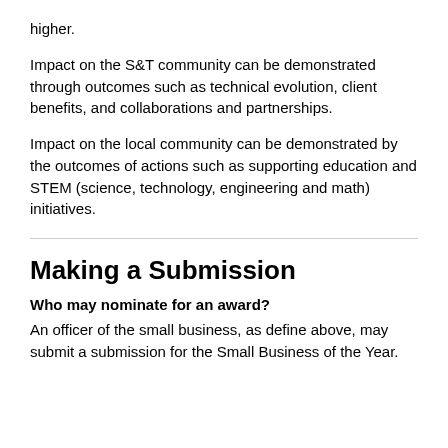higher.
Impact on the S&T community can be demonstrated through outcomes such as technical evolution, client benefits, and collaborations and partnerships.
Impact on the local community can be demonstrated by the outcomes of actions such as supporting education and STEM (science, technology, engineering and math) initiatives.
Making a Submission
Who may nominate for an award?
An officer of the small business, as define above, may submit a submission for the Small Business of the Year.